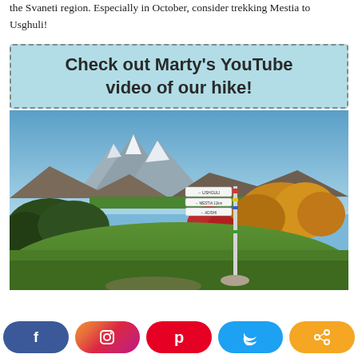the Svaneti region. Especially in October, consider trekking Mestia to Usghuli!
Check out Marty's YouTube video of our hike!
[Figure (photo): Mountain landscape in the Svaneti region showing snow-capped peaks, autumn-colored forests with red, orange and yellow trees, green meadows, and a trail signpost with directional signs in the foreground.]
[Figure (infographic): Social media sharing bar with five buttons: Facebook (blue), Instagram (gradient), Pinterest (red), Twitter (light blue), and Share (orange).]